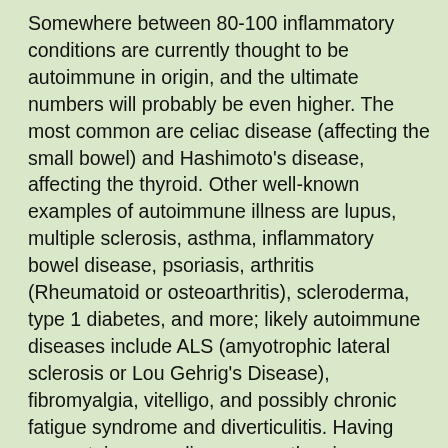Somewhere between 80-100 inflammatory conditions are currently thought to be autoimmune in origin, and the ultimate numbers will probably be even higher. The most common are celiac disease (affecting the small bowel) and Hashimoto's disease, affecting the thyroid. Other well-known examples of autoimmune illness are lupus, multiple sclerosis, asthma, inflammatory bowel disease, psoriasis, arthritis (Rheumatoid or osteoarthritis), scleroderma, type 1 diabetes, and more; likely autoimmune diseases include ALS (amyotrophic lateral sclerosis or Lou Gehrig's Disease), fibromyalgia, vitelligo, and possibly chronic fatigue syndrome and diverticulitis. Having one autoimmune disease greatly raises your risk of a second, and while there is clearly a genetic component to autoimmune disease, family history does not fully explain its increased incidence over the last 50 years.
You will not find a specialist in autoimmune disease if you look in the phone book. Even a very sophisticated